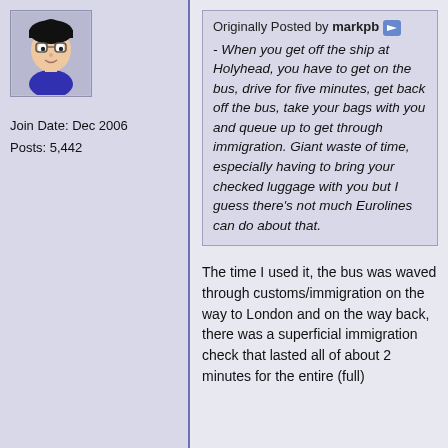[Figure (illustration): Avatar image of a cartoon character with black hair and blue outfit]
Join Date: Dec 2006
Posts: 5,442
Originally Posted by markpb
- When you get off the ship at Holyhead, you have to get on the bus, drive for five minutes, get back off the bus, take your bags with you and queue up to get through immigration. Giant waste of time, especially having to bring your checked luggage with you but I guess there's not much Eurolines can do about that.
The time I used it, the bus was waved through customs/immigration on the way to London and on the way back, there was a superficial immigration check that lasted all of about 2 minutes for the entire (full)